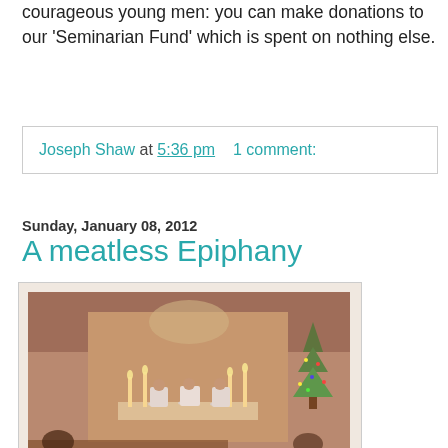courageous young men: you can make donations to our 'Seminarian Fund' which is spent on nothing else.
Joseph Shaw at 5:36 pm    1 comment:
Sunday, January 08, 2012
A meatless Epiphany
[Figure (photo): Interior of a church during a Mass ceremony, with robed figures at an altar, candles lit, pews with congregation members, and a Christmas tree visible to the right.]
Friday was the first, and I think perhaps it will be the last, time that English Catholics will be required to abstain from flesh meat on 6th January, which is the Feast of the